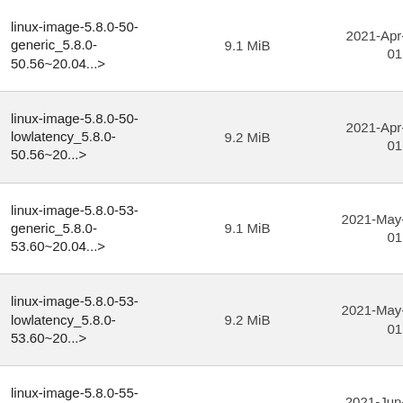| Name | Size | Date |
| --- | --- | --- |
| linux-image-5.8.0-50-generic_5.8.0-50.56~20.04...> | 9.1 MiB | 2021-Apr-16 01:48 |
| linux-image-5.8.0-50-lowlatency_5.8.0-50.56~20...> | 9.2 MiB | 2021-Apr-16 01:48 |
| linux-image-5.8.0-53-generic_5.8.0-53.60~20.04...> | 9.1 MiB | 2021-May-12 01:17 |
| linux-image-5.8.0-53-lowlatency_5.8.0-53.60~20...> | 9.2 MiB | 2021-May-12 01:17 |
| linux-image-5.8.0-55-generic_5.8.0-55.62~20.04...> | 9.1 MiB | 2021-Jun-03 10:56 |
| linux-image-5.8.0-55-lowlatency_5.8.0-55.62~20...> | 9.2 MiB | 2021-Jun-03 10:56 |